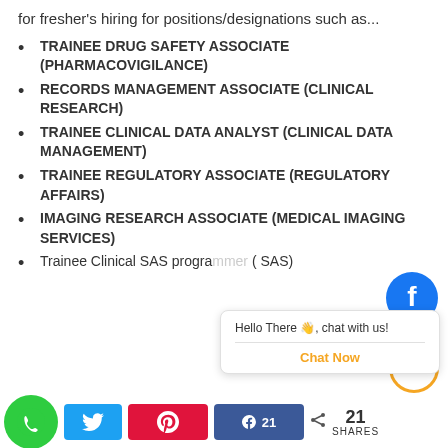for fresher's hiring for positions/designations such as...
TRAINEE DRUG SAFETY ASSOCIATE (PHARMACOVIGILANCE)
RECORDS MANAGEMENT ASSOCIATE (CLINICAL RESEARCH)
TRAINEE CLINICAL DATA ANALYST (CLINICAL DATA MANAGEMENT)
TRAINEE REGULATORY ASSOCIATE (REGULATORY AFFAIRS)
IMAGING RESEARCH ASSOCIATE (MEDICAL IMAGING SERVICES)
Trainee Clinical SAS programmer (SAS)